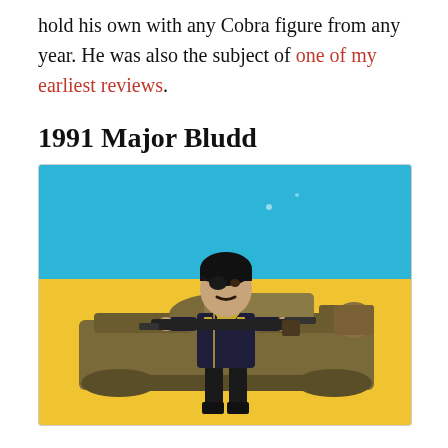hold his own with any Cobra figure from any year. He was also the subject of one of my earliest reviews.
1991 Major Bludd
[Figure (photo): A 1991 Major Bludd action figure dressed in black with an eye patch and mustache, holding a large gun, posed in front of a military tank toy. Background is split blue (top) and yellow (bottom).]